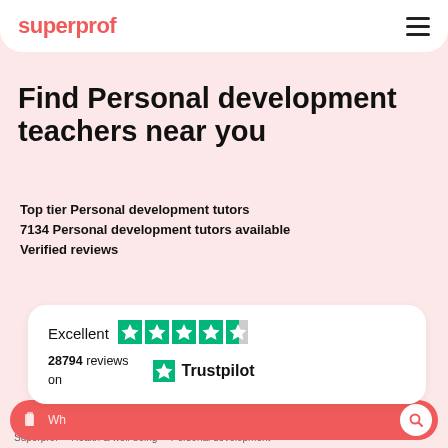superprof
Find Personal development teachers near you
Top tier Personal development tutors
7134 Personal development tutors available
Verified reviews
[Figure (infographic): Trustpilot rating widget showing Excellent rating with 4.5 green stars, 28794 reviews on Trustpilot]
What subject are you looking for? (search bar)
Superprof > Health & well-being > Personal development